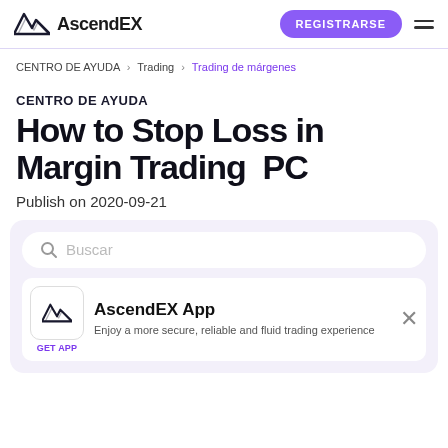AscendEX   REGISTRARSE
CENTRO DE AYUDA > Trading > Trading de márgenes
CENTRO DE AYUDA
How to Stop Loss in Margin Trading  PC
Publish on 2020-09-21
Buscar
AscendEX App
Enjoy a more secure, reliable and fluid trading experience
GET APP